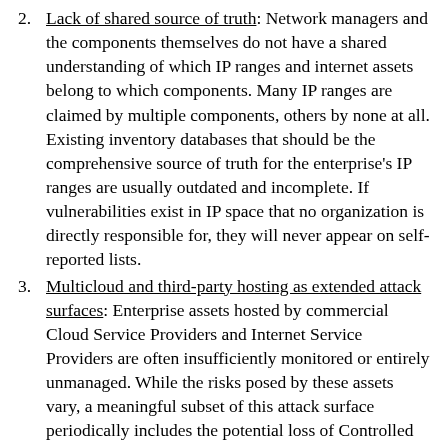2. Lack of shared source of truth: Network managers and the components themselves do not have a shared understanding of which IP ranges and internet assets belong to which components. Many IP ranges are claimed by multiple components, others by none at all. Existing inventory databases that should be the comprehensive source of truth for the enterprise's IP ranges are usually outdated and incomplete. If vulnerabilities exist in IP space that no organization is directly responsible for, they will never appear on self-reported lists.
3. Multicloud and third-party hosting as extended attack surfaces: Enterprise assets hosted by commercial Cloud Service Providers and Internet Service Providers are often insufficiently monitored or entirely unmanaged. While the risks posed by these assets vary, a meaningful subset of this attack surface periodically includes the potential loss of Controlled Unclassified Information (CUI) or other potentially high-value enterprise assets.
4. Difficult to identify points of contact: For even those assets of the network that both the enterprise...